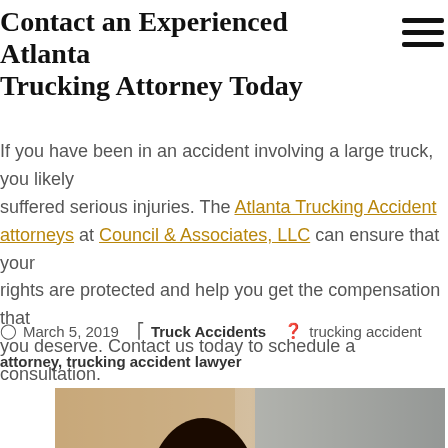Contact an Experienced Atlanta Trucking Attorney Today
If you have been in an accident involving a large truck, you likely suffered serious injuries. The Atlanta Trucking Accident Attorneys at Council & Associates, LLC can ensure that your rights are protected and help you get the compensation that you deserve. Contact us today to schedule a consultation.
March 5, 2019  Truck Accidents  trucking accident attorney, trucking accident lawyer
[Figure (photo): A female attorney smiling in a red jacket, with a Lady Justice statue visible to the right, set against a blurred office background.]